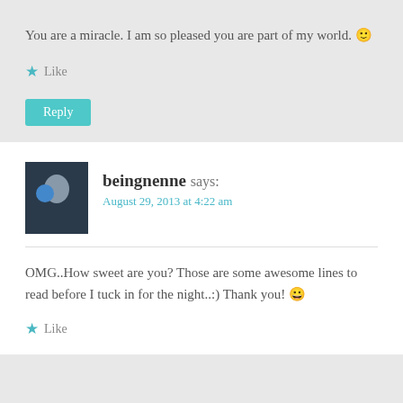You are a miracle. I am so pleased you are part of my world. 🙂
★ Like
Reply
beingnenne says:
August 29, 2013 at 4:22 am
OMG..How sweet are you? Those are some awesome lines to read before I tuck in for the night..:) Thank you! 😀
★ Like